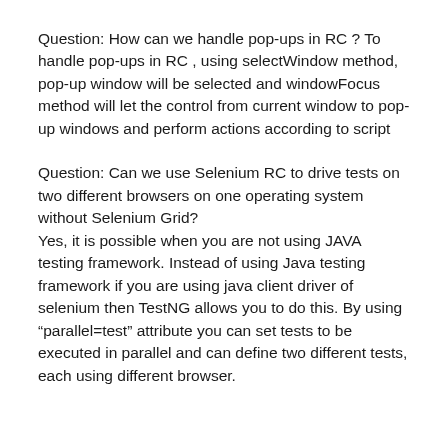Question: How can we handle pop-ups in RC ? To handle pop-ups in RC , using selectWindow method, pop-up window will be selected and windowFocus method will let the control from current window to pop-up windows and perform actions according to script
Question: Can we use Selenium RC to drive tests on two different browsers on one operating system without Selenium Grid? Yes, it is possible when you are not using JAVA testing framework. Instead of using Java testing framework if you are using java client driver of selenium then TestNG allows you to do this. By using “parallel=test” attribute you can set tests to be executed in parallel and can define two different tests, each using different browser.